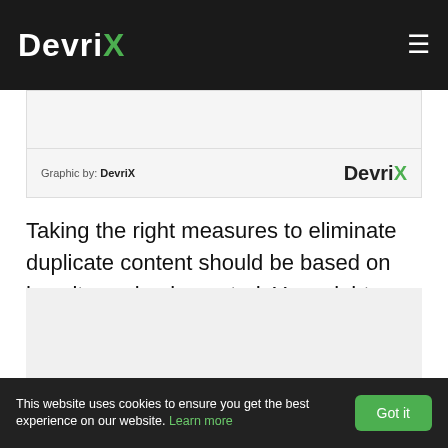DevriX
[Figure (screenshot): Graphic credit bar showing 'Graphic by: DevriX' on the left and DevriX logo on the right]
Graphic by: DevriX
Taking the right measures to eliminate duplicate content should be based on how it was implemented. You might need to execute one or more tactics to let search engines know that your content is the one to rank. Feel free to take the steps that we have provided above and apply them on your website to rank higher on search engines.
[Figure (screenshot): Bottom image placeholder area]
This website uses cookies to ensure you get the best experience on our website. Learn more